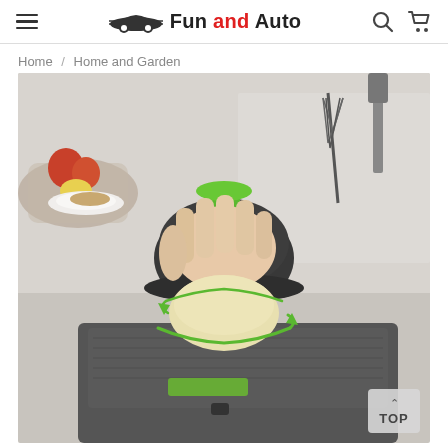Fun and Auto — navigation header with hamburger menu, logo, search and cart icons
Home / Home and Garden
[Figure (photo): A person's hand pressing down on a dark grey mandoline slicer safety holder with a green top handle, rotating a light-coloured vegetable (appears to be a turnip or similar) on a grey mandoline slicer blade. Green circular rotation arrows are visible. Kitchen background with fruits, plate, whisk and spatula.]